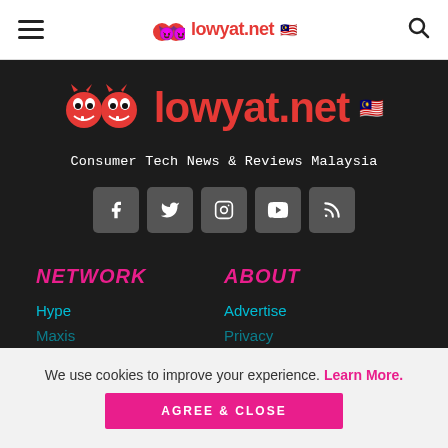lowyat.net — navigation bar with hamburger menu and search icon
[Figure (logo): lowyat.net logo — two red devil emoji faces and red text 'lowyat.net' in large font on dark background]
Consumer Tech News & Reviews Malaysia
[Figure (infographic): Social media icon buttons: Facebook, Twitter, Instagram, YouTube, RSS — grey rounded square buttons]
NETWORK
Hype
Maxis (partially visible)
ABOUT
Advertise
Privacy (partially visible)
We use cookies to improve your experience. Learn More.
AGREE & CLOSE